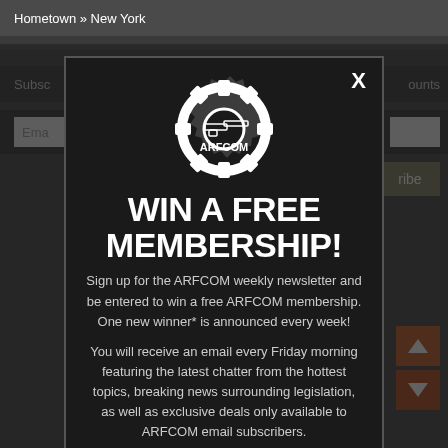Hometown » New York
[Figure (screenshot): ARFCOM website background with subscribe bar, email input, and orange navigation arrows]
[Figure (logo): ARFCOM gear logo in white]
WIN A FREE MEMBERSHIP!
Sign up for the ARFCOM weekly newsletter and be entered to win a free ARFCOM membership. One new winner* is announced every week!
You will receive an email every Friday morning featuring the latest chatter from the hottest topics, breaking news surrounding legislation, as well as exclusive deals only available to ARFCOM email subscribers.